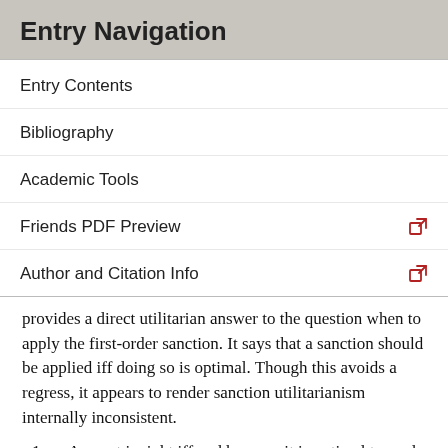Entry Navigation
Entry Contents
Bibliography
Academic Tools
Friends PDF Preview
Author and Citation Info
provides a direct utilitarian answer to the question when to apply the first-order sanction. It says that a sanction should be applied iff doing so is optimal. Though this avoids a regress, it appears to render sanction utilitarianism internally inconsistent.
Any act is right iff and because it is optimal to apply sanctions to its omission (the indirect claim).
Applying sanctions is right iff and because doing so is optimal (the direct claim).
(2) is inconsistent with (1).